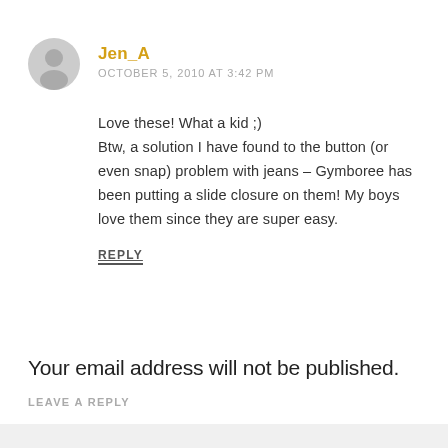[Figure (illustration): Gray circular avatar icon with a person silhouette]
Jen_A
OCTOBER 5, 2010 AT 3:42 PM
Love these! What a kid ;)
Btw, a solution I have found to the button (or even snap) problem with jeans – Gymboree has been putting a slide closure on them! My boys love them since they are super easy.
REPLY
Your email address will not be published.
LEAVE A REPLY